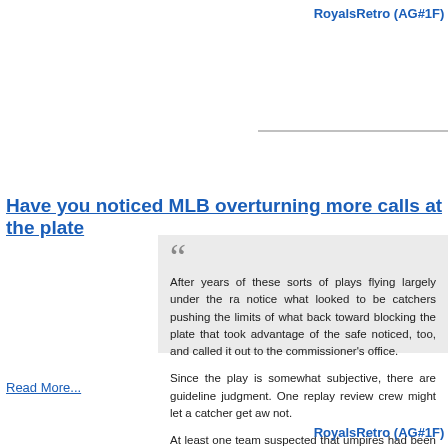RoyalsRetro (AG#1F)
Have you noticed MLB overturning more calls at the plate
After years of these sorts of plays flying largely under the ra notice what looked to be catchers pushing the limits of what back toward blocking the plate that took advantage of the safe noticed, too, and called it out to the commissioner's office.

Since the play is somewhat subjective, there are guideline judgment. One replay review crew might let a catcher get aw not.

At least one team suspected that umpires had been given i more strictly.

But in a statement to Yahoo Sports, ...
Read More...
RoyalsRetro (AG#1F)